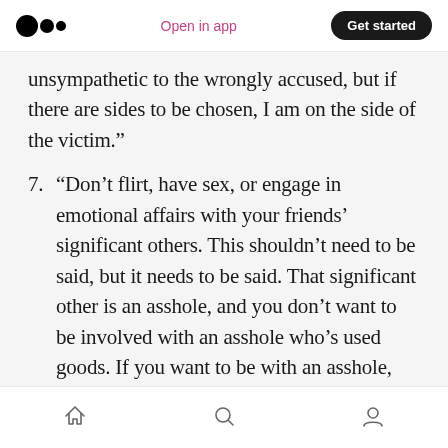Open in app | Get started
unsympathetic to the wrongly accused, but if there are sides to be chosen, I am on the side of the victim.”
7. “Don’t flirt, have sex, or engage in emotional affairs with your friends’ significant others. This shouldn’t need to be said, but it needs to be said. That significant other is an asshole, and you don’t want to be involved with an asshole who’s used goods. If you want to be with an asshole, get a fresh asshole of your very own. They are abundant.”
Home | Search | Profile